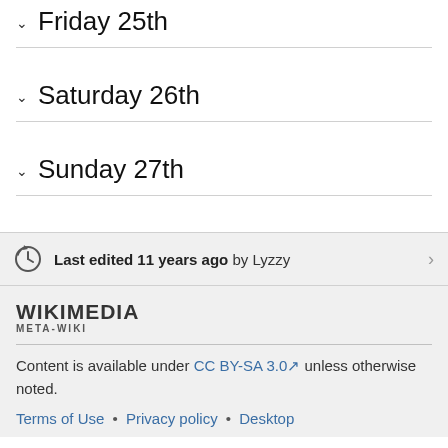Friday 25th
Saturday 26th
Sunday 27th
Last edited 11 years ago by Lyzzy
[Figure (logo): Wikimedia Meta-Wiki logo]
Content is available under CC BY-SA 3.0 unless otherwise noted.
Terms of Use • Privacy policy • Desktop